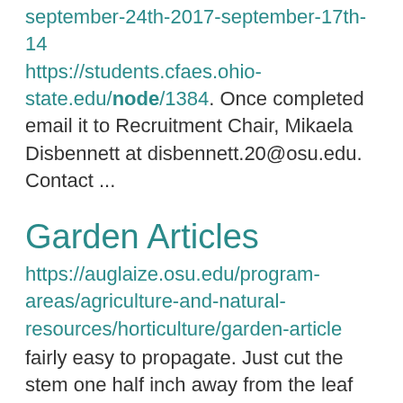september-24th-2017-september-17th-14 https://students.cfaes.ohio-state.edu/node/1384. Once completed email it to Recruitment Chair, Mikaela Disbennett at disbennett.20@osu.edu. Contact ...
Garden Articles
https://auglaize.osu.edu/program-areas/agriculture-and-natural-resources/horticulture/garden-article
fairly easy to propagate. Just cut the stem one half inch away from the leaf node and place this ... single-node cutting into a fine potting media. Keep the soil moist, but not saturated until roots appear, which